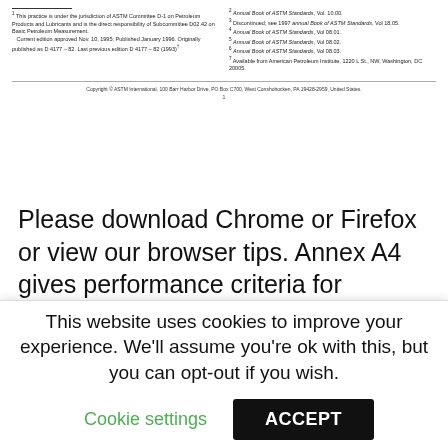1 This practice is under the jurisdiction of ASTM Committee D-1 on Petroleum Products and Lubricants and is the direct responsibility of Subcommittee D02.42 on Basic Petroleum Measurement. Current edition approved Nov. 10, 1995; Published January 1996. Originally published as D 4177 – 82. Last previous edition D 4177 – 82 (1993).
2 Annual book of ASTM Standards, Vol. 10.00. 3 Discontinued; see 1997 annual Book of ASTM Standards, Vol 18.05. 4 Annual Book of ASTM Standards, Vol 08.01. 5 Annual Book of ASTM Standards, Vol 08.02. 6 Annual Book of ASTM Standards, Vol 08.03. 7 Available from American Petroleum Institute, 1220 L St., NW, Washington, DC 20005.
Copyright © ASTM International, 100 Barr Harbor Drive, PO Box C700, West Conshohocken, PA 19428-2959, United States.
Please download Chrome or Firefox or view our browser tips. Annex A4 gives performance criteria for permanent installations, while Annex A5 has the criteria for portable sampling units.
Standard Practice for Automatic Sampling of Petroleum and
This website uses cookies to improve your experience. We'll assume you're ok with this, but you can opt-out if you wish.
Cookie settings   ACCEPT